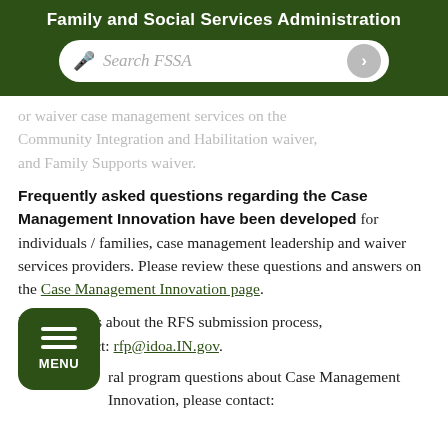Family and Social Services Administration
or waiver case management services on the Community Integration and Habilitation waiver, and Family Supports waiver.
Frequently asked questions regarding the Case Management Innovation have been developed for individuals / families, case management leadership and waiver services providers. Please review these questions and answers on the Case Management Innovation page.
For questions about the RFS submission process, please contact: rfp@idoa.IN.gov.
For general program questions about Case Management Innovation, please contact: